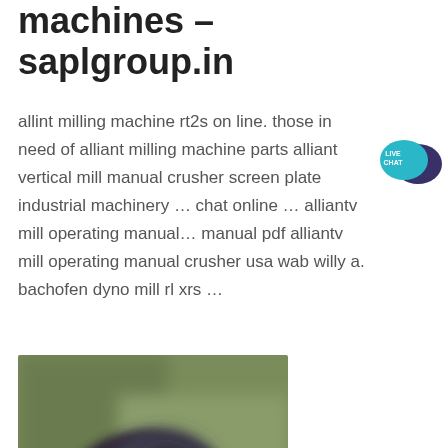machines - saplgroup.in
allint milling machine rt2s on line. those in need of alliant milling machine parts alliant vertical mill manual crusher screen plate industrial machinery ... chat online ... alliantv mill operating manual... manual pdf alliantv mill operating manual crusher usa wab willy a. bachofen dyno mill rl xrs ...
[Figure (photo): Blurred photo of a person holding a camera or video recording device, outdoors with green background]
[Figure (photo): Partially visible blurred photo, light blue/grey tones, cropped at bottom of page]